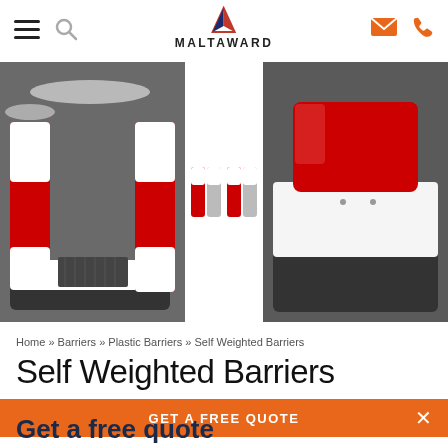MALTAWARD — navigation header with hamburger menu, search, logo, email and phone icons
[Figure (photo): Left photo: red and white self-weighted plastic barriers arranged in a U-shape on a dark surface with snow]
[Figure (photo): Center small image: four small self-weighted plastic barriers in red and white/grey colours]
[Figure (photo): Right photo: close-up of a red and white self-weighted plastic barrier on a dark surface]
Home » Barriers » Plastic Barriers » Self Weighted Barriers
Self Weighted Barriers
GET A FREE QUOTE
Get a free quote